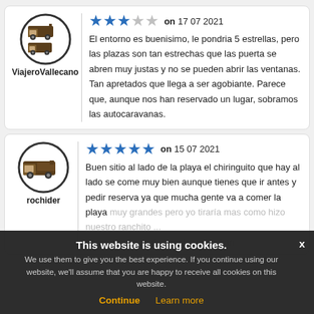[Figure (illustration): User avatar icon with two motorhomes/campervans inside a circle, for user ViajeroVallecano]
ViajeroVallecano
★★★☆☆ on 17 07 2021
El entorno es buenisimo, le pondria 5 estrellas, pero las plazas son tan estrechas que las puerta se abren muy justas y no se pueden abrir las ventanas. Tan apretados que llega a ser agobiante. Parece que, aunque nos han reservado un lugar, sobramos las autocaravanas.
[Figure (illustration): User avatar icon with a motorhome/campervan inside a circle, for user rochider]
rochider
★★★★★ on 15 07 2021
Buen sitio al lado de la playa el chiringuito que hay al lado se come muy bien aunque tienes que ir antes y pedir reserva ya que mucha gente va a comer la playa ... muy grandes pero yo tiraría mas como hizo nuestro ranchito ... aparqueis fuera de las plazas multan
This website is using cookies. We use them to give you the best experience. If you continue using our website, we'll assume that you are happy to receive all cookies on this website. Continue  Learn more